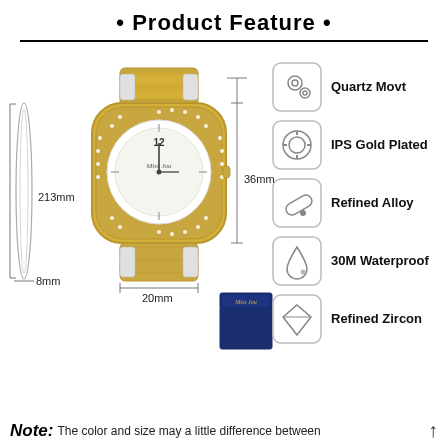• Product Feature •
[Figure (infographic): Product feature infographic showing a women's gold and silver watch with dimension annotations (213mm height, 8mm bracelet width, 20mm band width, 36mm case height), a thin bracelet illustration on the left, a navy gift box bottom right, and five feature icons on the right side: Quartz Movt, IPS Gold Plated, Refined Alloy, 30M Waterproof, Refined Zircon.]
Note: The color and size may a little difference between